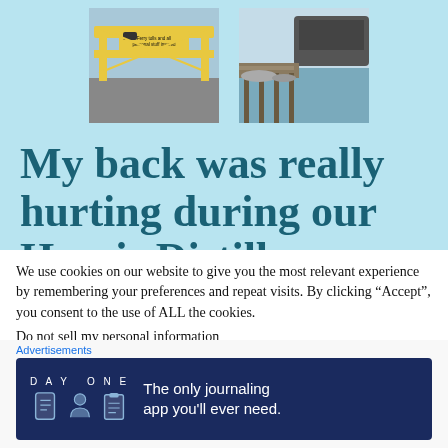[Figure (photo): Two photos side by side on a light blue background: left photo shows a yellow ferry gate/railing with a sign reading 'Ferry tolls and all personal stuff insured'; right photo shows a dock/harbour with a boat moored at a pier.]
My back was really hurting during our Harris Distillery
We use cookies on our website to give you the most relevant experience by remembering your preferences and repeat visits. By clicking “Accept”, you consent to the use of ALL the cookies.
Do not sell my personal information
[Figure (screenshot): Advertisement banner for DAY ONE journaling app. Dark navy background with DAY ONE logo text, three illustrated icons (journal, person, notepad), and text: 'The only journaling app you'll ever need.']